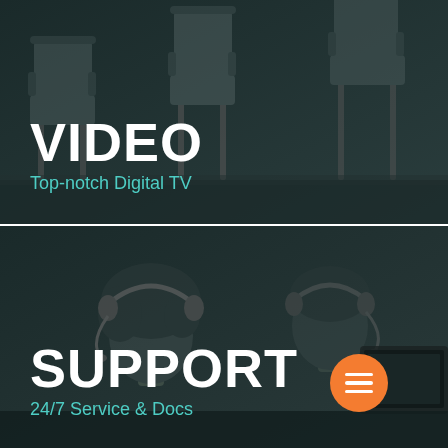[Figure (photo): Grayscale/dark-teal tinted photo of chairs in a waiting room, used as background for the VIDEO panel]
VIDEO
Top-notch Digital TV
[Figure (photo): Grayscale/dark-teal tinted photo of customer support agents wearing headsets at computers, used as background for the SUPPORT panel]
SUPPORT
24/7 Service & Docs